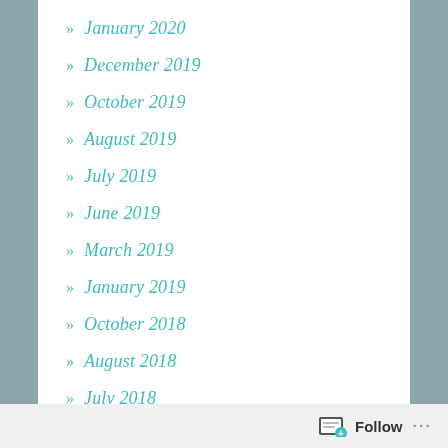January 2020
December 2019
October 2019
August 2019
July 2019
June 2019
March 2019
January 2019
October 2018
August 2018
July 2018
June 2018
May 2018
April 2018
Follow ...